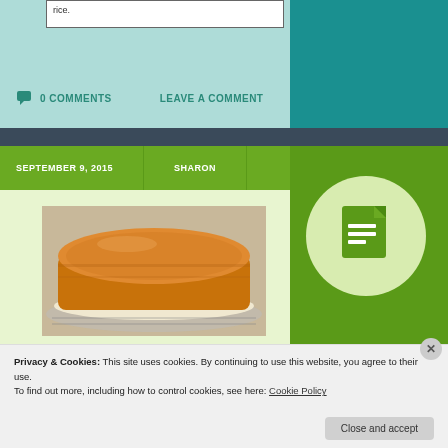rice.
0 COMMENTS
LEAVE A COMMENT
SEPTEMBER 9, 2015
SHARON
[Figure (photo): Round golden-brown cake on a wire rack with parchment paper]
[Figure (illustration): Green document/notepad icon inside a light green circle]
Privacy & Cookies: This site uses cookies. By continuing to use this website, you agree to their use.
To find out more, including how to control cookies, see here: Cookie Policy
Close and accept